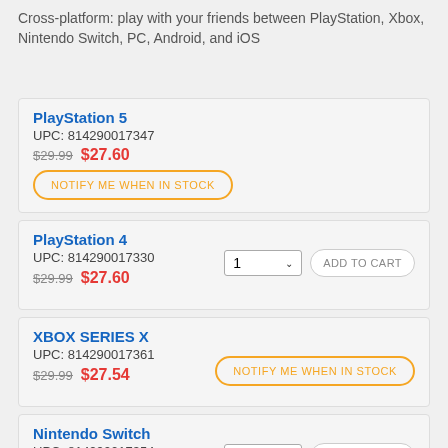Cross-platform: play with your friends between PlayStation, Xbox, Nintendo Switch, PC, Android, and iOS
PlayStation 5
UPC: 814290017347
$29.99 $27.60
NOTIFY ME WHEN IN STOCK
PlayStation 4
UPC: 814290017330
$29.99 $27.60
1 ▾ ADD TO CART
XBOX SERIES X
UPC: 814290017361
$29.99 $27.54
NOTIFY ME WHEN IN STOCK
Nintendo Switch
UPC: 814290017354
$29.99 $27.60
1 ▾ ADD TO CART